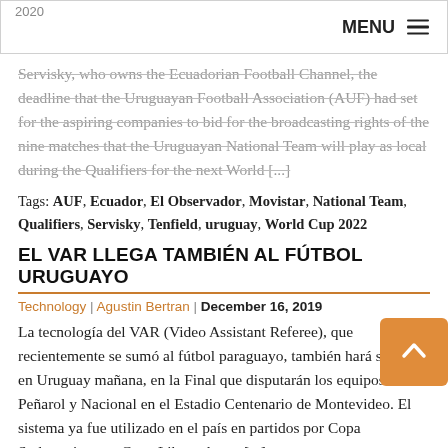2020 | MENU
Servisky, who owns the Ecuadorian Football Channel, the deadline that the Uruguayan Football Association (AUF) had set for the aspiring companies to bid for the broadcasting rights of the nine matches that the Uruguayan National Team will play as local during the Qualifiers for the next World [...]
Tags: AUF, Ecuador, El Observador, Movistar, National Team, Qualifiers, Servisky, Tenfield, uruguay, World Cup 2022
EL VAR LLEGA TAMBIÉN AL FÚTBOL URUGUAYO
Technology | Agustin Bertran | December 16, 2019
La tecnología del VAR (Video Assistant Referee), que recientemente se sumó al fútbol paraguayo, también hará su debut en Uruguay mañana, en la Final que disputarán los equipos Peñarol y Nacional en el Estadio Centenario de Montevideo. El sistema ya fue utilizado en el país en partidos por Copa Sudamericana y Copa Libertadores, [...]
Tags: AUF, Conmebol, Copa Libertadores, Copa